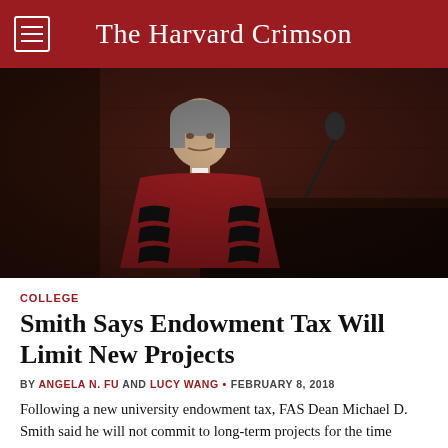The Harvard Crimson
[Figure (photo): Man in red Harvard academic regalia with black stripes standing at a podium/lectern, speaking. Dark wood paneled background. Photo appears to be taken at a formal academic ceremony.]
COLLEGE
Smith Says Endowment Tax Will Limit New Projects
BY ANGELA N. FU AND LUCY WANG • FEBRUARY 8, 2018
Following a new university endowment tax, FAS Dean Michael D. Smith said he will not commit to long-term projects for the time being.